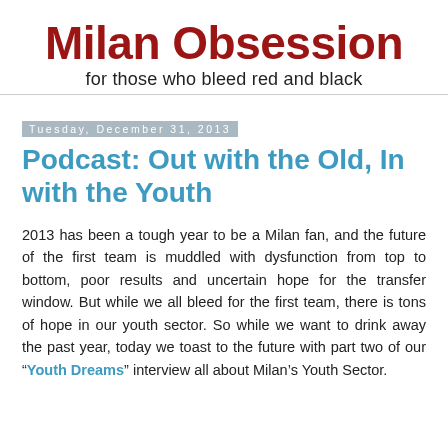Milan Obsession
for those who bleed red and black
Tuesday, December 31, 2013
Podcast: Out with the Old, In with the Youth
2013 has been a tough year to be a Milan fan, and the future of the first team is muddled with dysfunction from top to bottom, poor results and uncertain hope for the transfer window. But while we all bleed for the first team, there is tons of hope in our youth sector. So while we want to drink away the past year, today we toast to the future with part two of our “Youth Dreams” interview all about Milan’s Youth Sector.